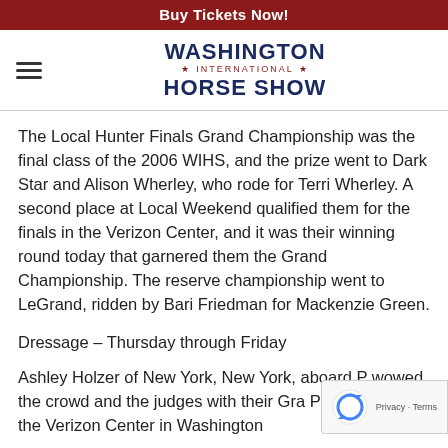Buy Tickets Now!
[Figure (logo): Washington International Horse Show logo with hamburger menu icon]
The Local Hunter Finals Grand Championship was the final class of the 2006 WIHS, and the prize went to Dark Star and Alison Wherley, who rode for Terri Wherley. A second place at Local Weekend qualified them for the finals in the Verizon Center, and it was their winning round today that garnered them the Grand Championship. The reserve championship went to LeGrand, ridden by Bari Friedman for Mackenzie Green.
Dressage – Thursday through Friday
Ashley Holzer of New York, New York, aboard P wowed the crowd and the judges with their Gra Prix Freestyle at the Verizon Center in Washington